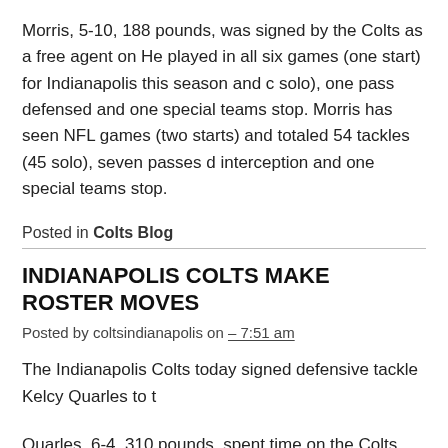Morris, 5-10, 188 pounds, was signed by the Colts as a free agent on He played in all six games (one start) for Indianapolis this season and c solo), one pass defensed and one special teams stop. Morris has seen NFL games (two starts) and totaled 54 tackles (45 solo), seven passes d interception and one special teams stop.
Posted in Colts Blog
INDIANAPOLIS COLTS MAKE ROSTER MOVES
Posted by coltsindianapolis on – 7:51 am
The Indianapolis Colts today signed defensive tackle Kelcy Quarles to t
Quarles, 6-4, 310 pounds, spent time on the Colts practice squad earl participated in the Colts 2016 offseason program and training camp be during final cuts on September 3. Quarles was signed to the team's pra September 4 and released on September 13. Last season, he was sign roster from the team's practice squad on December 21, 2015. Quarles career NFL games and recorded one tackle, 1.0 sack and one pass defe previously spent time on the practice squads of the New England Patr